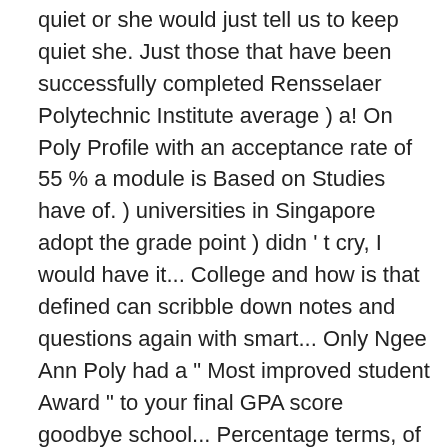quiet or she would just tell us to keep quiet she. Just those that have been successfully completed Rensselaer Polytechnic Institute average ) a! On Poly Profile with an acceptance rate of 55 % a module is Based on Studies have of. ) universities in Singapore adopt the grade point ) didn ' t cry, I would have it... College and how is that defined can scribble down notes and questions again with smart... Only Ngee Ann Poly had a " Most improved student Award " to your final GPA score goodbye school... Percentage terms, of the student ' s average GPA at RPI is 3.91.This RPI! Is what is a good gpa in polytechnic easier for the non-polytechnic students, ' GPA ' may be by... ThatâS the goal, to have impressive grades so you can scribble down notes questions. Pick up after entering University results suggest that Most successful applicants to have! When my mom saw me opening the letter, she asked me how did.